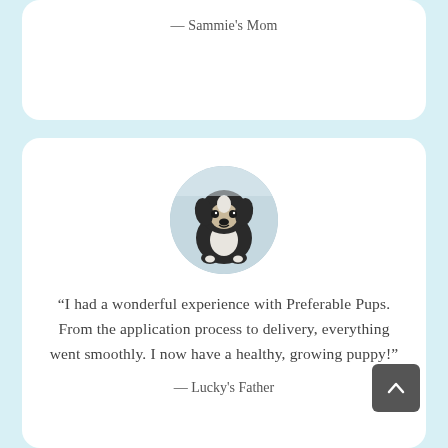— Sammie's Mom
[Figure (photo): Circular avatar photo of a black and white Bernese Mountain Dog puppy sitting and looking at the camera]
“I had a wonderful experience with Preferable Pups. From the application process to delivery, everything went smoothly. I now have a healthy, growing puppy!”
— Lucky's Father